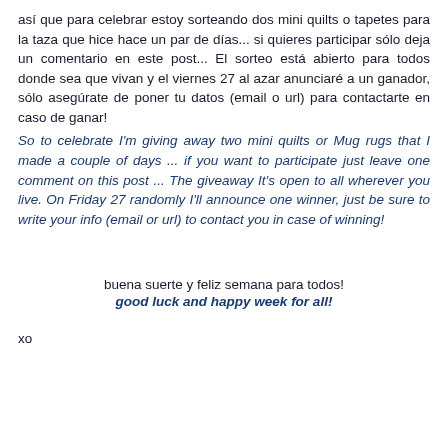así que para celebrar estoy sorteando dos mini quilts o tapetes para la taza que hice hace un par de días... si quieres participar sólo deja un comentario en este post... El sorteo está abierto para todos donde sea que vivan y el viernes 27 al azar anunciaré a un ganador, sólo asegúrate de poner tu datos (email o url) para contactarte en caso de ganar!
So to celebrate I'm giving away two mini quilts or Mug rugs that I made a couple of days ... if you want to participate just leave one comment on this post ... The giveaway It's open to all wherever you live. On Friday 27 randomly I'll announce one winner, just be sure to write your info (email or url) to contact you in case of winning!
buena suerte y feliz semana para todos!
good luck and happy week for all!
xo